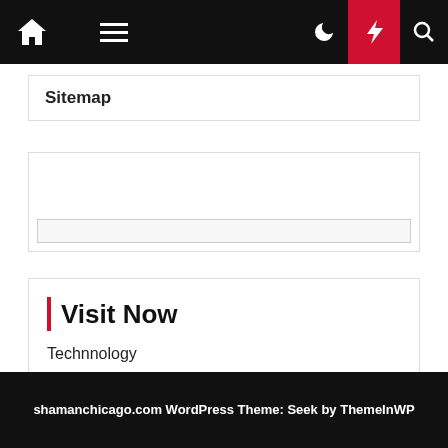[Figure (screenshot): Website navigation bar with home icon, hamburger menu, moon icon, red lightning bolt button, and search icon on black background]
Sitemap
[Figure (other): Empty advertisement or content box with a light gray inner bar at the bottom]
Visit Now
Technnology
shamanchicago.com WordPress Theme: Seek by ThemeInWP